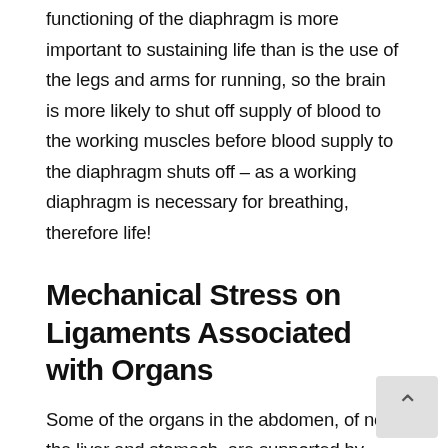functioning of the diaphragm is more important to sustaining life than is the use of the legs and arms for running, so the brain is more likely to shut off supply of blood to the working muscles before blood supply to the diaphragm shuts off – as a working diaphragm is necessary for breathing, therefore life!
Mechanical Stress on Ligaments Associated with Organs
Some of the organs in the abdomen, of note the liver and stomach, are supported by ligaments that attach onto the diaphragm. One theory on the causes of stitches is that there is mechanical stress on thes ligaments during exercise.